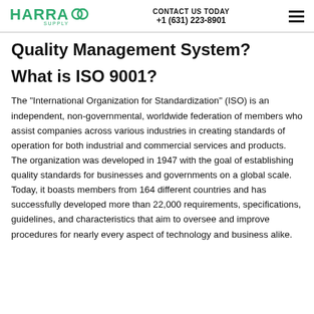HARRA SUPPLY | CONTACT US TODAY +1 (631) 223-8901
Quality Management System?
What is ISO 9001?
The "International Organization for Standardization" (ISO) is an independent, non-governmental, worldwide federation of members who assist companies across various industries in creating standards of operation for both industrial and commercial services and products. The organization was developed in 1947 with the goal of establishing quality standards for businesses and governments on a global scale. Today, it boasts members from 164 different countries and has successfully developed more than 22,000 requirements, specifications, guidelines, and characteristics that aim to oversee and improve procedures for nearly every aspect of technology and business alike.